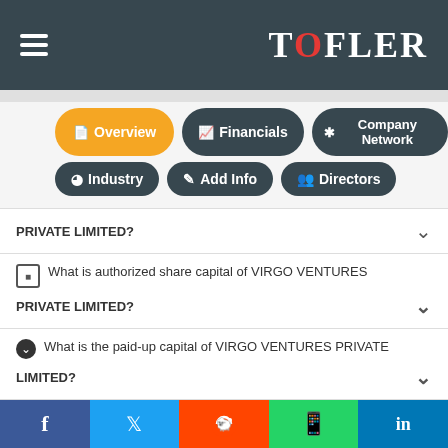[Figure (screenshot): Tofler website header with hamburger menu and logo]
Overview
Financials
Company Network
Industry
Add Info
Directors
PRIVATE LIMITED?
What is authorized share capital of VIRGO VENTURES PRIVATE LIMITED?
What is the paid-up capital of VIRGO VENTURES PRIVATE LIMITED?
What is the registered address of VIRGO VENTURES PRIVATE LIMITED?
What is the CIN number of VIRGO VENTURES PRIVATE
Facebook | Twitter | Reddit | WhatsApp | LinkedIn